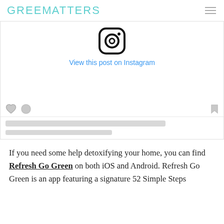GREENMATTERS
[Figure (screenshot): Instagram post embed widget showing the Instagram camera logo icon, a 'View this post on Instagram' link in blue, grey action icons (heart, comment bubble, bookmark), and two grey placeholder text lines.]
If you need some help detoxifying your home, you can find Refresh Go Green on both iOS and Android. Refresh Go Green is an app featuring a signature 52 Simple Steps